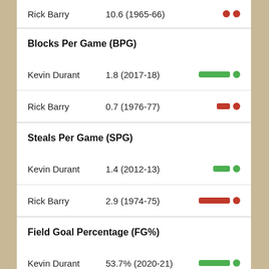Rick Barry   10.6 (1965-66)
Blocks Per Game (BPG)
Kevin Durant   1.8 (2017-18)
Rick Barry   0.7 (1976-77)
Steals Per Game (SPG)
Kevin Durant   1.4 (2012-13)
Rick Barry   2.9 (1974-75)
Field Goal Percentage (FG%)
Kevin Durant   53.7% (2020-21)
Rick Barry   .511% (1968-69)